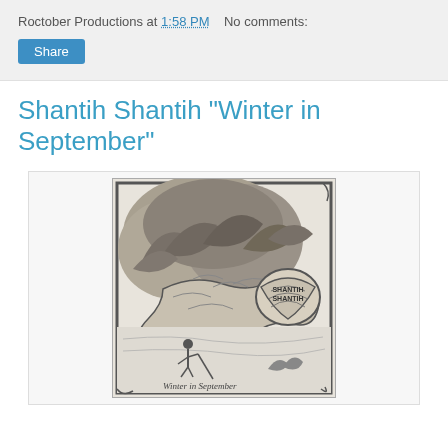Roctober Productions at 1:58 PM   No comments:
Share
Shantih Shantih "Winter in September"
[Figure (illustration): Album cover art for Shantih Shantih 'Winter in September' — a black and white pencil/ink drawing showing a large serpent or dragon creature with a shell bearing the text 'SHANTIH SHANTIH' amidst tropical foliage, with a small human figure in the foreground carrying a staff, and handwritten text 'Winter in September' at the bottom.]